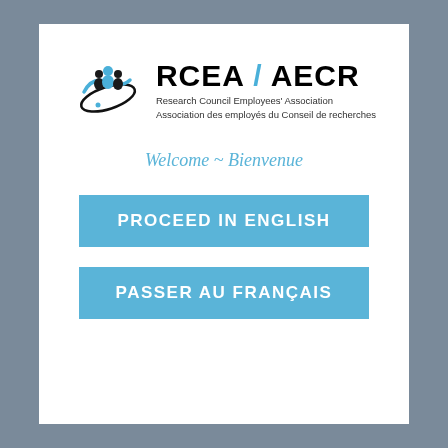[Figure (logo): RCEA / AECR logo with stylized figures in blue and black orbit icon, with text 'RCEA / AECR', 'Research Council Employees' Association', 'Association des employés du Conseil de recherches']
Welcome ~ Bienvenue
PROCEED IN ENGLISH
PASSER AU FRANÇAIS